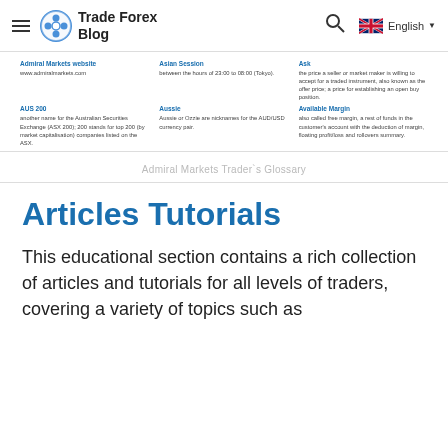Trade Forex Blog | English
Admiral Markets website
www.admiralmarkets.com
Asian Session
between the hours of 23:00 to 08:00 (Tokyo).
Ask
The price a seller or market maker is willing to accept for a traded instrument, also known as the offer price; a price for establishing an open buy position.
AUS 200
another name for the Australian Securities Exchange (ASX 200); 200 stands for top 200 (by market capitalisation) companies listed on the ASX.
Aussie
Aussie or Ozzie are nicknames for the AUD/USD currency pair.
Available Margin
also called free margin, a rest of funds in the customer's account with the deduction of margin, floating profit/loss and rollovers summary.
Admiral Markets Trader`s Glossary
Articles Tutorials
This educational section contains a rich collection of articles and tutorials for all levels of traders, covering a variety of topics such as